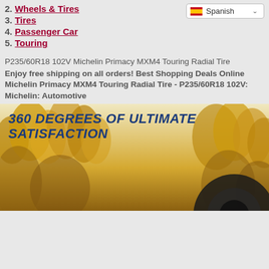2. Wheels & Tires
3. Tires
4. Passenger Car
5. Touring
P235/60R18 102V Michelin Primacy MXM4 Touring Radial Tire
Enjoy free shipping on all orders! Best Shopping Deals Online Michelin Primacy MXM4 Touring Radial Tire - P235/60R18 102V: Michelin: Automotive
[Figure (photo): Michelin tire advertisement banner with autumn trees background and text '360 DEGREES OF ULTIMATE SATISFACTION' in dark blue italic font]